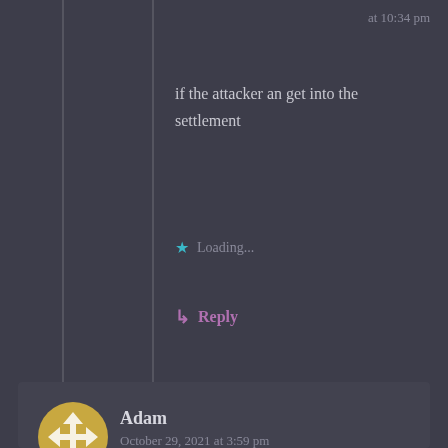at 10:34 pm
if the attacker an get into the settlement
Loading...
Reply
Adam
October 29, 2021 at 3:59 pm
How did sieges from less well organized statelike entities proceed? For instance, there are siege depictions in the Bible, and even ignoring things